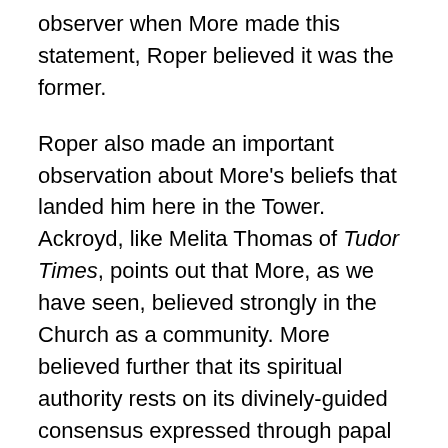observer when More made this statement, Roper believed it was the former.
Roper also made an important observation about More's beliefs that landed him here in the Tower. Ackroyd, like Melita Thomas of Tudor Times, points out that More, as we have seen, believed strongly in the Church as a community. More believed further that its spiritual authority rests on its divinely-guided consensus expressed through papal decrees. Yet both Thomas and Ackroyd point out that More's views on papal supremacy shifted somewhat over the years. Initially, Roper, also More's earliest biographer, described it, More thought that insofar as he was also a temporal prince, the Pope's authority should not be urged so strongly by Henry VIII in his 1521 treatise A Defense of the Seven Sacraments. Henry VIII consulted More as an editor and advisor for the work: More's